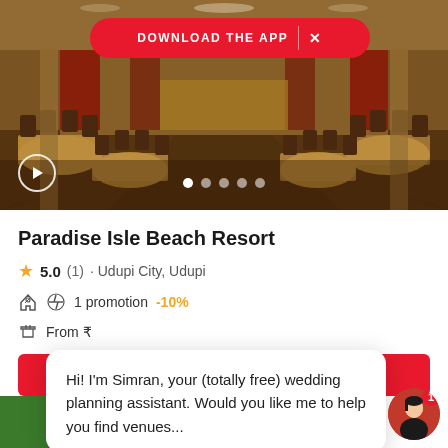[Figure (photo): Banquet hall interior with round tables covered in golden tablecloths and wooden chairs arranged in rows, warm lighting, viewed from the entrance.]
DOWNLOAD THE APP  ×
Paradise Isle Beach Resort
★ 5.0 (1) · Udupi City, Udupi
1 promotion  -10%
From ₹
Hi! I'm Simran, your (totally free) wedding planning assistant. Would you like me to help you find venues...